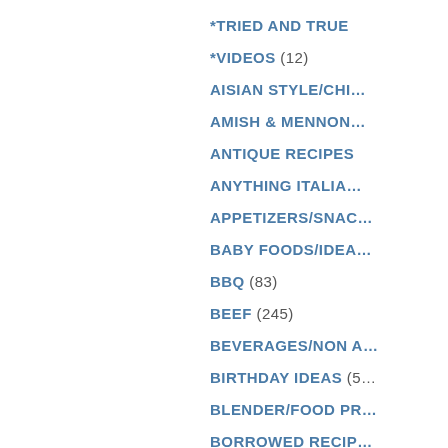*TRIED AND TRUE
*VIDEOS (12)
AISIAN STYLE/CHI…
AMISH & MENNON…
ANTIQUE RECIPES
ANYTHING ITALIAN
APPETIZERS/SNAC…
BABY FOODS/IDEA…
BBQ (83)
BEEF (245)
BEVERAGES/NON A…
BIRTHDAY IDEAS (5…
BLENDER/FOOD PR…
BORROWED RECIP…
BRAZIL MA…